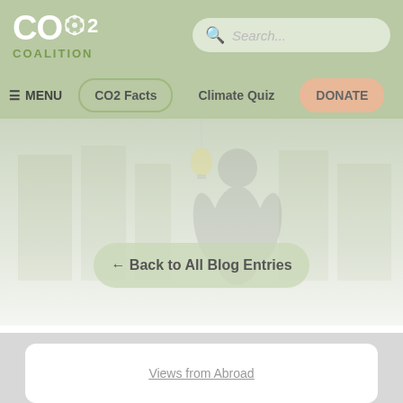CO2 COALITION
[Figure (screenshot): CO2 Coalition website header with logo, search bar, navigation menu buttons (CO2 Facts, Climate Quiz, DONATE), hero image showing faint silhouette of a person under a light bulb, and a back button labeled '← Back to All Blog Entries']
← Back to All Blog Entries
Views from Abroad